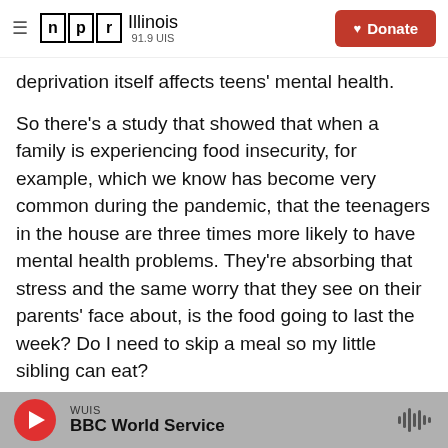NPR Illinois 91.9 UIS | Donate
deprivation itself affects teens' mental health.
So there's a study that showed that when a family is experiencing food insecurity, for example, which we know has become very common during the pandemic, that the teenagers in the house are three times more likely to have mental health problems. They're absorbing that stress and the same worry that they see on their parents' face about, is the food going to last the week? Do I need to skip a meal so my little sibling can eat?
So I do want to play a clip from K (ph). She's
WUIS | BBC World Service